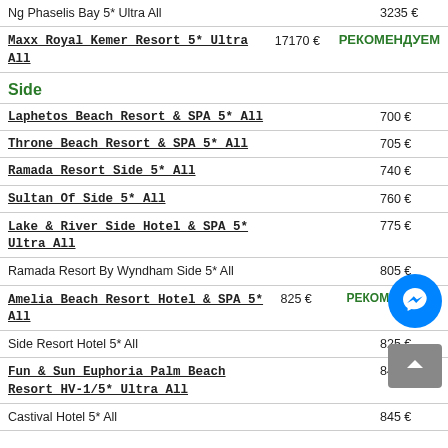Ng Phaselis Bay 5* Ultra All — 3235 €
Maxx Royal Kemer Resort 5* Ultra All — 17170 € РЕКОМЕНДУЕМ
Side
Laphetos Beach Resort & SPA 5* All — 700 €
Throne Beach Resort & SPA 5* All — 705 €
Ramada Resort Side 5* All — 740 €
Sultan Of Side 5* All — 760 €
Lake & River Side Hotel & SPA 5* Ultra All — 775 €
Ramada Resort By Wyndham Side 5* All — 805 €
Amelia Beach Resort Hotel & SPA 5* All — 825 € РЕКОМЕНДУЕМ
Side Resort Hotel 5* All — 825 €
Fun & Sun Euphoria Palm Beach Resort HV-1/5* Ultra All — 840 €
Castival Hotel 5* All — 845 €